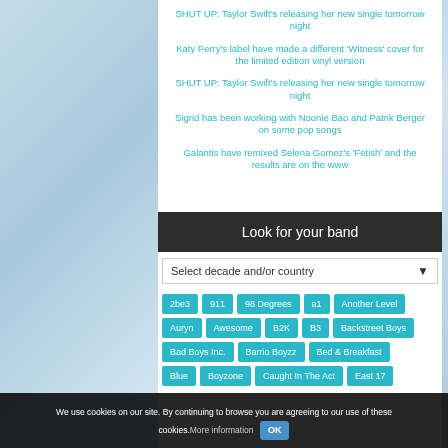SHUT UP: Taylor Swift's releasing her new single tomorrow night
Katy Perry's label have made a different 'Witness' cover for the limited edition vinyl version
SHUT UP: Taylor Swift's releasing her new single tomorrow night
Sigrid has been working with Noonie Bao and Patrik Berger on some pop songs
Galantis have remixed Selena Gomez's 'Fetish' and the results are on the www
Look for your band
Select decade and/or country
2be3  911  98 Degrees  a1  Another Level  Auryn  Awesome  B2K  B3  Backstreet Boys  Bad Boys Inc.  Barrio Boyzz  Bed & Breakfast  Blue  Boyzone  Caught In The Act  East 17
We use cookies on our site. By continuing to browse you are agreeing to our use of these cookies. More information OK